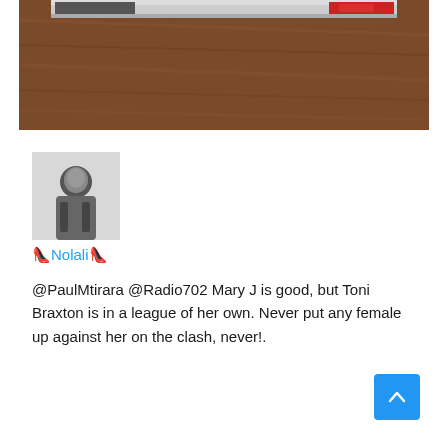[Figure (photo): Top portion of a photo showing a CD case on a wooden surface, with a partial view of album cover art on the left and a red cover on the right.]
[Figure (photo): Black and white profile photo of a person used as a Twitter avatar.]
👠Nolali👠
@PaulMtirara @Radio702 Mary J is good, but Toni Braxton is in a league of her own. Never put any female up against her on the clash, never!.